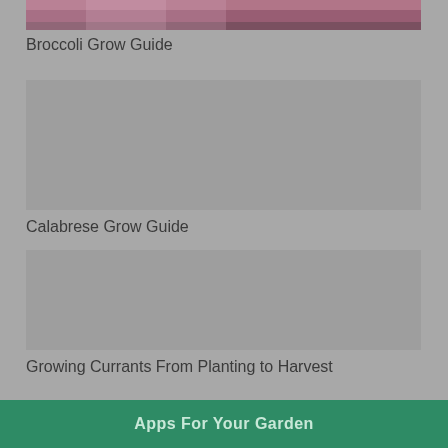[Figure (photo): Top portion of a photo showing pink/magenta flowering plant (likely broccoli or similar brassica flower) against green foliage background]
Broccoli Grow Guide
[Figure (photo): Gray placeholder image area for Calabrese Grow Guide]
Calabrese Grow Guide
[Figure (photo): Gray placeholder image area for Growing Currants From Planting to Harvest]
Growing Currants From Planting to Harvest
Apps For Your Garden